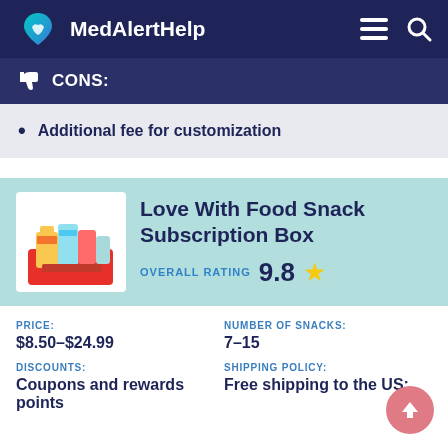MedAlertHelp
CONS:
Additional fee for customization
Love With Food Snack Subscription Box
OVERALL RATING 9.8 ★
PRICE: $8.50–$24.99
NUMBER OF SNACKS: 7–15
DISCOUNTS: Coupons and rewards points
SHIPPING POLICY: Free shipping to the US;